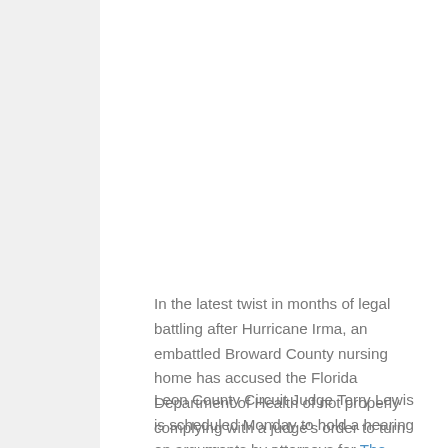In the latest twist in months of legal battling after Hurricane Irma, an embattled Broward County nursing home has accused the Florida Department of Health of not properly complying with a judge's order to turn over public records.
Leon County Circuit Judge Terry Lewis is scheduled Monday to hold a hearing on arguments by attorneys for The Rehabilitation Center at